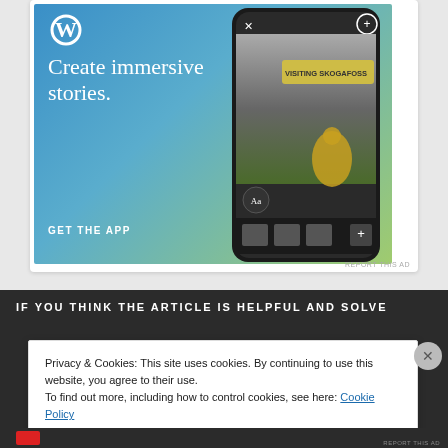[Figure (screenshot): WordPress advertisement banner with blue-green gradient background. Shows WordPress W logo, text 'Create immersive stories.' and 'GET THE APP', alongside a phone mockup showing a travel blog post titled 'VISITING SKOGAFOSS' with a person in a yellow jacket looking up at a waterfall.]
REPORT THIS AD
IF YOU THINK THE ARTICLE IS HELPFUL AND SOLVE
Privacy & Cookies: This site uses cookies. By continuing to use this website, you agree to their use.
To find out more, including how to control cookies, see here: Cookie Policy
Close and accept